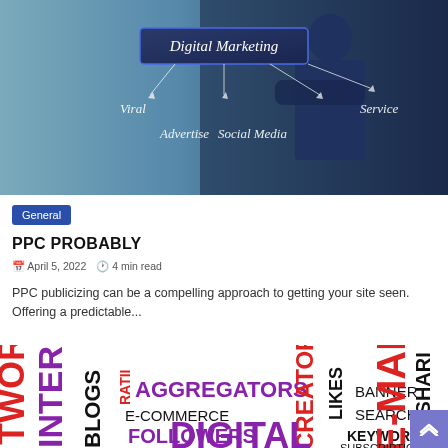[Figure (photo): A businessman in a suit standing with arms crossed against a light teal background, overlaid with a mind-map graphic showing 'Digital Marketing' in a box connected by arrows to words: Viral, Advertise, Social Media, Service]
General
PPC PROBABLY
April 5, 2022   4 min read
PPC publicizing can be a compelling approach to getting your site seen. Offering a predictable...
[Figure (infographic): A word cloud / tag cloud with digital marketing related terms: NETWORK, INTERNE, BLOGS, RATII, AGGREGATORS, E-COMMERCE, FOLLOWERS, CREATOR, LIKES, BANNER, SEARCH, E-MAIL, KEYWORDS, DIGITAL, SUBSCRIPTIONS, PHOTO SHARING — in red, purple, and black colors at various orientations]